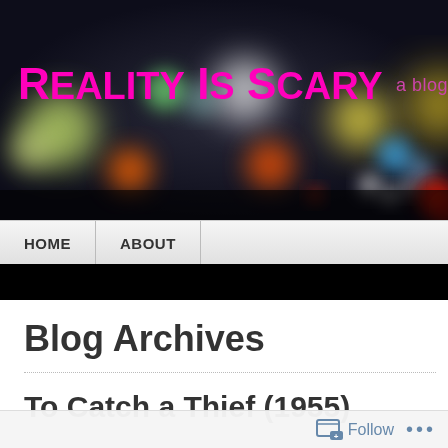[Figure (photo): Blog header banner with dark background showing bokeh/blurred city lights in various colors (green, orange, red, yellow, blue, white) against a dark night background]
Reality Is Scary
a blog
HOME   ABOUT
Blog Archives
To Catch a Thief (1955)
Follow ...